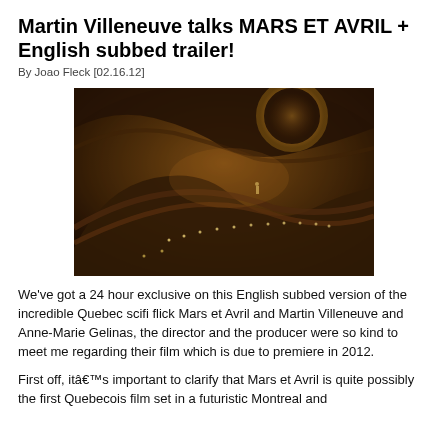Martin Villeneuve talks MARS ET AVRIL + English subbed trailer!
By Joao Fleck [02.16.12]
[Figure (photo): A dramatic sci-fi scene showing a large metallic or organic curved surface in a dark amber/golden lit environment. A small human figure is visible in the distance, with small lights along what appears to be a giant hand or structure. The image has a warm, dark orange-brown color palette.]
We've got a 24 hour exclusive on this English subbed version of the incredible Quebec scifi flick Mars et Avril and Martin Villeneuve and Anne-Marie Gelinas, the director and the producer were so kind to meet me regarding their film which is due to premiere in 2012.
First off, itâ€™s important to clarify that Mars et Avril is quite possibly the first Quebecois film set in a futuristic Montreal and